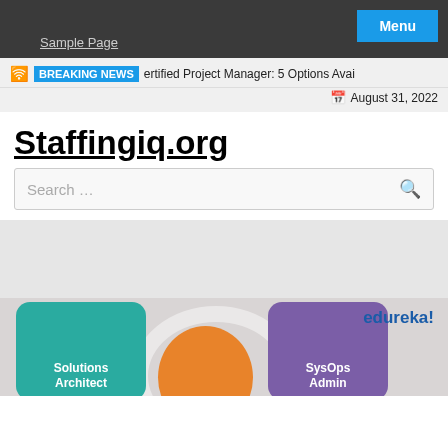Sample Page  Menu
BREAKING NEWS  ertified Project Manager: 5 Options Avai
August 31, 2022
Staffingiq.org
Search …
[Figure (illustration): Gray advertisement placeholder area]
[Figure (infographic): Edureka advertisement showing Solutions Architect, Developer, and SysOps Admin certification cards with edureka! branding]